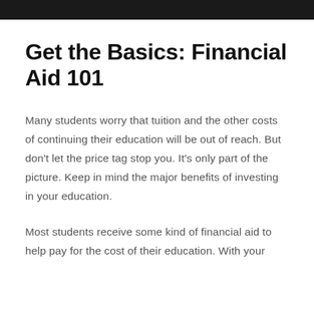Get the Basics: Financial Aid 101
Many students worry that tuition and the other costs of continuing their education will be out of reach. But don't let the price tag stop you. It's only part of the picture. Keep in mind the major benefits of investing in your education.
Most students receive some kind of financial aid to help pay for the cost of their education. With your